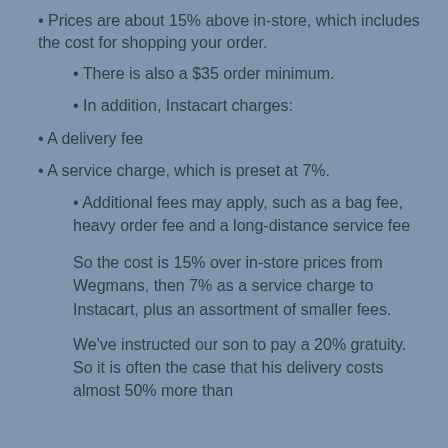Prices are about 15% above in-store, which includes the cost for shopping your order.
There is also a $35 order minimum.
In addition, Instacart charges:
A delivery fee
A service charge, which is preset at 7%.
Additional fees may apply, such as a bag fee, heavy order fee and a long-distance service fee
So the cost is 15% over in-store prices from Wegmans, then 7% as a service charge to Instacart, plus an assortment of smaller fees.
We've instructed our son to pay a 20% gratuity. So it is often the case that his delivery costs almost 50% more than